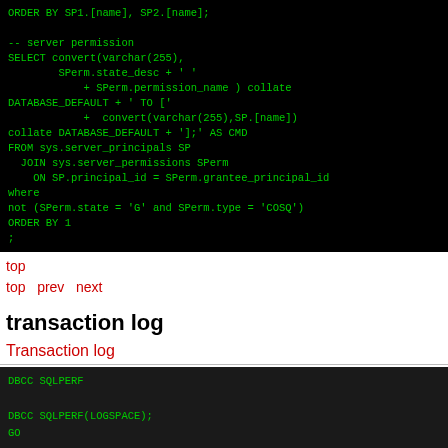[Figure (screenshot): Black terminal/code block showing SQL query with ORDER BY and server permissions SELECT statement]
top
top   prev   next
transaction log
Transaction log
[Figure (screenshot): Black terminal/code block showing DBCC SQLPERF and DBCC SQLPERF(LOGSPACE); GO commands]